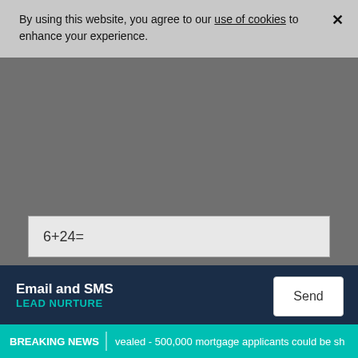By using this website, you agree to our use of cookies to enhance your experience.
[Figure (screenshot): Textarea form input field (partially visible, greyed out)]
6+24=
By submitting your enquiry you agree to the contact details entered in this form being used to contact you regarding your enquiry and that you have read and accepted our Terms and Conditions. Please see our Privacy Policy for information regarding the processing of your data.
[Figure (screenshot): reCAPTCHA widget with checkbox and 'I'm not a robot' label]
Email and SMS LEAD NURTURE
Send
BREAKING NEWS vealed - 500,000 mortgage applicants could be sh